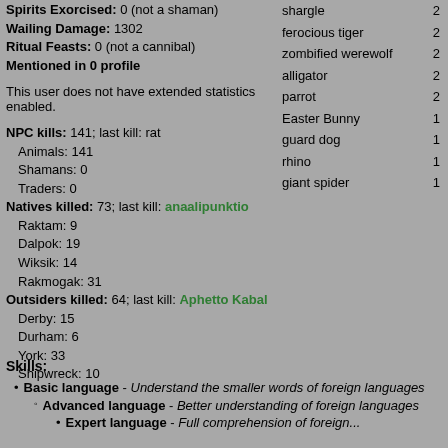Spirits Exorcised: 0 (not a shaman)
Wailing Damage: 1302
Ritual Feasts: 0 (not a cannibal)
Mentioned in 0 profile
This user does not have extended statistics enabled.
NPC kills: 141; last kill: rat
 Animals: 141
 Shamans: 0
 Traders: 0
Natives killed: 73; last kill: anaalipunktio
 Raktam: 9
 Dalpok: 19
 Wiksik: 14
 Rakmogak: 31
Outsiders killed: 64; last kill: Aphetto Kabal
 Derby: 15
 Durham: 6
 York: 33
 Shipwreck: 10
| creature | count |
| --- | --- |
| shargle | 2 |
| ferocious tiger | 2 |
| zombified werewolf | 2 |
| alligator | 2 |
| parrot | 2 |
| Easter Bunny | 1 |
| guard dog | 1 |
| rhino | 1 |
| giant spider | 1 |
Skills:
Basic language - Understand the smaller words of foreign languages
Advanced language - Better understanding of foreign languages
Expert language - Full comprehension of foreign...